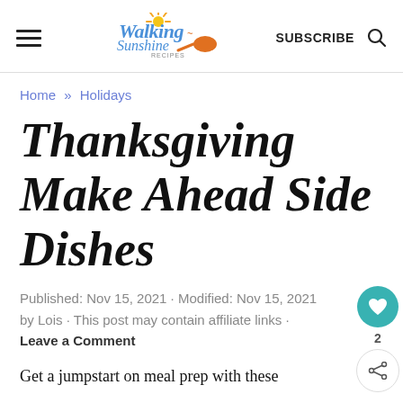Walking Sunshine Recipes | SUBSCRIBE
Home » Holidays
Thanksgiving Make Ahead Side Dishes
Published: Nov 15, 2021 · Modified: Nov 15, 2021 by Lois · This post may contain affiliate links · Leave a Comment
Get a jumpstart on meal prep with these